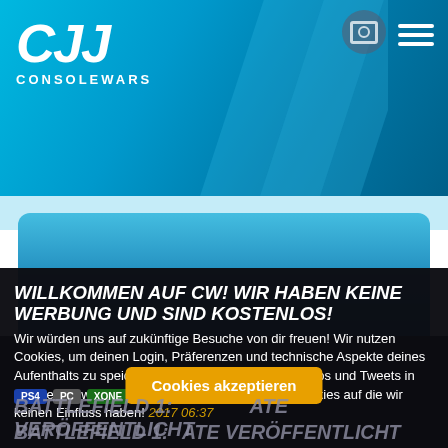CONSOLEWARS
[Figure (screenshot): Blue gradient card/banner area on the website]
WILLKOMMEN AUF CW! WIR HABEN KEINE WERBUNG UND SIND KOSTENLOS!
Wir würden uns auf zukünftige Besuche von dir freuen! Wir nutzen Cookies, um deinen Login, Präferenzen und technische Aspekte deines Aufenthalts zu speichern. Eingebettete Youtube-Videos und Tweets in unseren News und Inhalten setzen ihre eigenen Cookies auf die wir keinen Einfluss haben!
Cookies akzeptieren
BATTLEFIELD 1: ... ATE VERÖFFENTLICHT